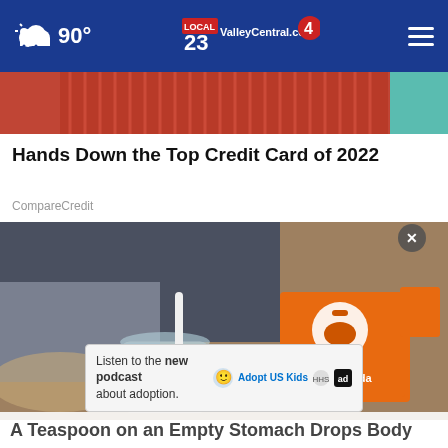90° ValleyCentral.com 23 4
[Figure (photo): Cropped top portion of an article image showing a person in a red ribbed sweater against a teal background]
Hands Down the Top Credit Card of 2022
CompareCredit
[Figure (photo): Person holding an Arm & Hammer Baking Soda box and stirring a white powder with a spoon into a glass jar on a table]
Listen to the new podcast about adoption.
A Teaspoon on an Empty Stomach Drops Body